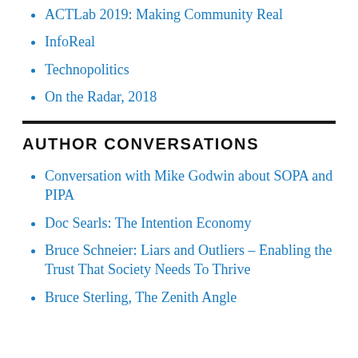ACTLab 2019: Making Community Real
InfoReal
Technopolitics
On the Radar, 2018
AUTHOR CONVERSATIONS
Conversation with Mike Godwin about SOPA and PIPA
Doc Searls: The Intention Economy
Bruce Schneier: Liars and Outliers – Enabling the Trust That Society Needs To Thrive
Bruce Sterling, The Zenith Angle